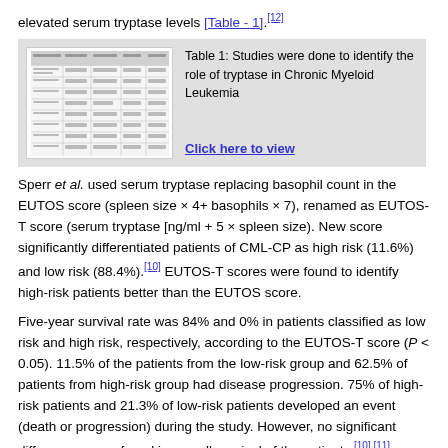elevated serum tryptase levels [Table - 1].[12]
[Figure (table-as-image): Thumbnail image of Table 1 showing studies done to identify the role of tryptase in Chronic Myeloid Leukemia]
Table 1: Studies were done to identify the role of tryptase in Chronic Myeloid Leukemia
Click here to view
Sperr et al. used serum tryptase replacing basophil count in the EUTOS score (spleen size × 4+ basophils × 7), renamed as EUTOS-T score (serum tryptase [ng/ml + 5 × spleen size). New score significantly differentiated patients of CML-CP as high risk (11.6%) and low risk (88.4%).[10] EUTOS-T scores were found to identify high-risk patients better than the EUTOS score.
Five-year survival rate was 84% and 0% in patients classified as low risk and high risk, respectively, according to the EUTOS-T score (P < 0.05). 11.5% of the patients from the low-risk group and 62.5% of patients from high-risk group had disease progression. 75% of high-risk patients and 21.3% of low-risk patients developed an event (death or progression) during the study. However, no significant differences were found in overall survival of the patients.[10],[11]